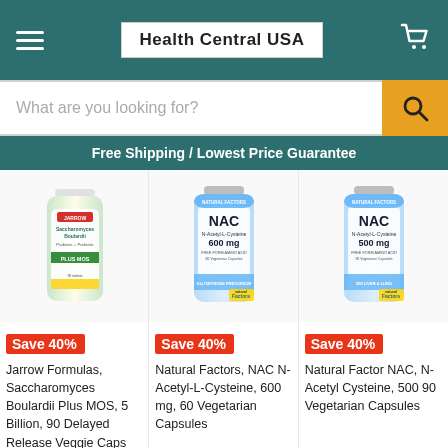Health Central USA
What are you looking for?
Free Shipping / Lowest Price Guarantee
[Figure (photo): Jarrow Formulas Saccharomyces Boulardii Plus MOS supplement bottle]
Save 40%
Jarrow Formulas, Saccharomyces Boulardii Plus MOS, 5 Billion, 90 Delayed Release Veggie Caps
[Figure (photo): Natural Factors NAC N-Acetyl-L-Cysteine 600 mg 60 Vegetarian Capsules supplement bottle]
Save 40%
Natural Factors, NAC N-Acetyl-L-Cysteine, 600 mg, 60 Vegetarian Capsules
[Figure (photo): Natural Factors NAC N-Acetyl-L-Cysteine 500 mg 90 Vegetarian Capsules supplement bottle]
Save 40%
Natural Factor NAC, N-Acetyl Cysteine, 500 90 Vegetarian Capsules